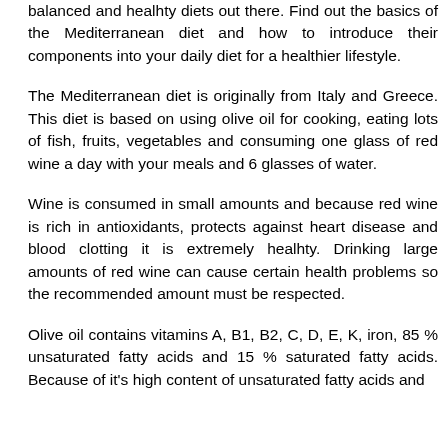balanced and healhty diets out there. Find out the basics of the Mediterranean diet and how to introduce their components into your daily diet for a healthier lifestyle.
The Mediterranean diet is originally from Italy and Greece. This diet is based on using olive oil for cooking, eating lots of fish, fruits, vegetables and consuming one glass of red wine a day with your meals and 6 glasses of water.
Wine is consumed in small amounts and because red wine is rich in antioxidants, protects against heart disease and blood clotting it is extremely healhty. Drinking large amounts of red wine can cause certain health problems so the recommended amount must be respected.
Olive oil contains vitamins A, B1, B2, C, D, E, K, iron, 85 % unsaturated fatty acids and 15 % saturated fatty acids. Because of it's high content of unsaturated fatty acids and